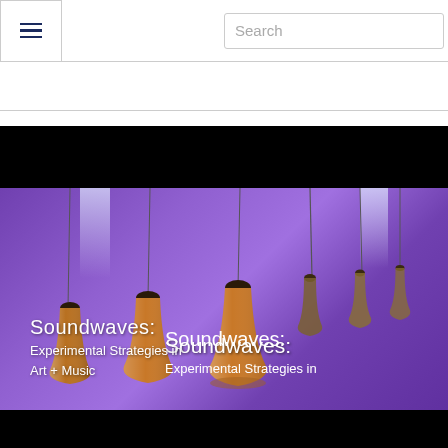☰  Search
[Figure (photo): Museum website screenshot showing a header with hamburger menu icon and search bar, followed by a promotional image for 'Soundwaves: Experimental Strategies in Art + Music' — a photo of copper/bronze pendulum bells hanging against a purple-lit background, with the exhibition title overlaid in white text. Black bars appear at top and bottom of the image.]